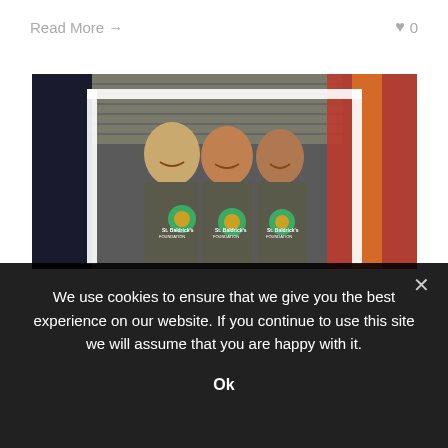Read More →
♥ 0
[Figure (photo): Three women wearing St. Baldrick's Foundation t-shirts posing together inside a white frame, at an indoor event with a metal shutter and orange/red flag in background.]
We use cookies to ensure that we give you the best experience on our website. If you continue to use this site we will assume that you are happy with it.
Ok